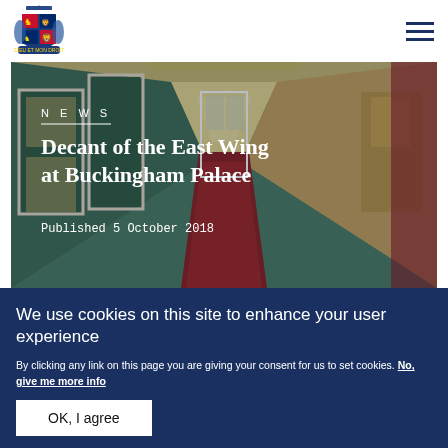Royal.uk header with royal crest logo and navigation menu
[Figure (photo): Interior corridor of Buckingham Palace with green walls, ornate white doorframes, and red carpet]
NEWS
Decant of the East Wing at Buckingham Palace
Published 5 October 2018
We use cookies on this site to enhance your user experience
By clicking any link on this page you are giving your consent for us to set cookies. No, give me more info
OK, I agree